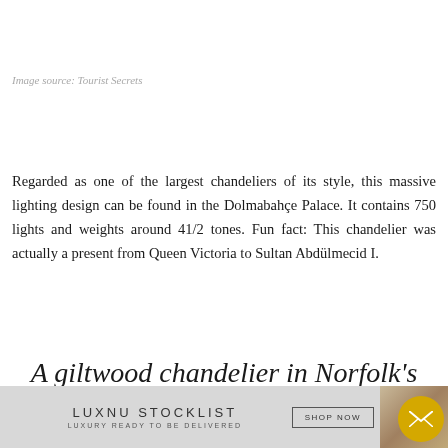Image source: Tourist Secrets
Regarded as one of the largest chandeliers of its style, this massive lighting design can be found in the Dolmabahçe Palace. It contains 750 lights and weights around 41/2 tones. Fun fact: This chandelier was actually a present from Queen Victoria to Sultan Abdülmecid I.
A giltwood chandelier in Norfolk's Houghton Hall
[Figure (other): Advertisement banner for LUXNU STOCKLIST - Luxury Ready To Be Delivered with shop now button and a furniture image, plus an email/envelope circular button]